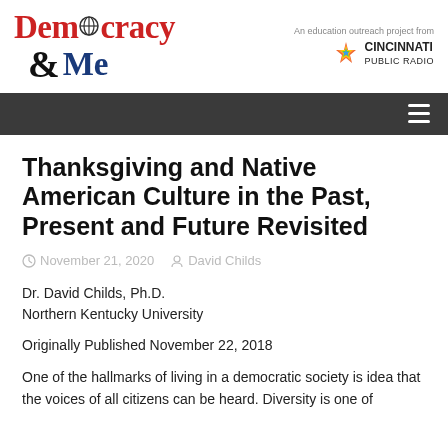Democracy & Me — An education outreach project from Cincinnati Public Radio
Thanksgiving and Native American Culture in the Past, Present and Future Revisited
November 21, 2020   David Childs
Dr. David Childs, Ph.D.
Northern Kentucky University
Originally Published November 22, 2018
One of the hallmarks of living in a democratic society is idea that the voices of all citizens can be heard. Diversity is one of